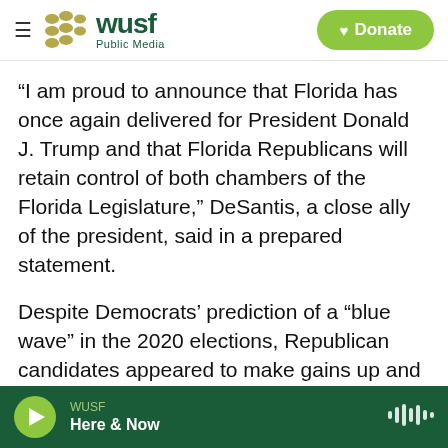[Figure (logo): WUSF Public Media logo with hamburger menu and Donate button]
“I am proud to announce that Florida has once again delivered for President Donald J. Trump and that Florida Republicans will retain control of both chambers of the Florida Legislature,” DeSantis, a close ally of the president, said in a prepared statement.
Despite Democrats’ prediction of a “blue wave” in the 2020 elections, Republican candidates appeared to make gains up and down the ticket, including in two closely watched South Florida congressional races where incumbent Democrats were poised to be ousted by GOP challengers.
WUSF Here & Now